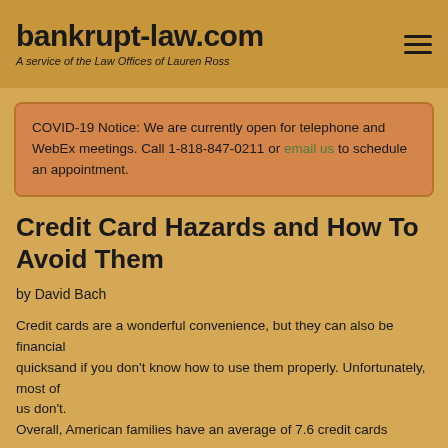bankrupt-law.com — A service of the Law Offices of Lauren Ross
COVID-19 Notice: We are currently open for telephone and WebEx meetings. Call 1-818-847-0211 or email us to schedule an appointment.
Credit Card Hazards and How To Avoid Them
by David Bach
Credit cards are a wonderful convenience, but they can also be financial quicksand if you don't know how to use them properly. Unfortunately, most of us don't. Overall, American families have an average of 7.6 credit cards